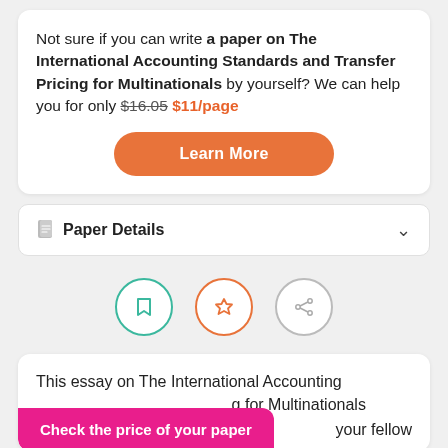Not sure if you can write a paper on The International Accounting Standards and Transfer Pricing for Multinationals by yourself? We can help you for only $16.05 $11/page
[Figure (other): Orange rounded button with white text 'Learn More']
Paper Details
[Figure (infographic): Three circular icon buttons in a row: bookmark (teal border), star (orange border), share (gray border)]
This essay on The International Accounting [Standards and Transfer Pricing] for Multinationals [was written by] your fellow
[Figure (other): Pink/magenta rounded button with white bold text 'Check the price of your paper']